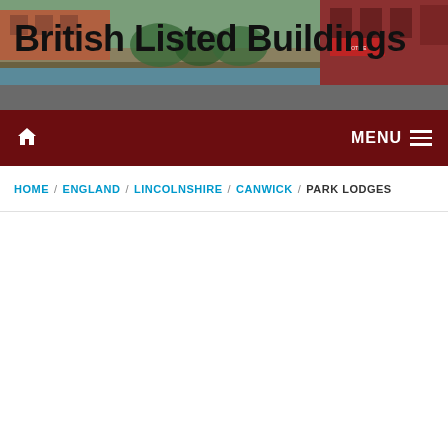[Figure (photo): Photograph of historic buildings along a waterway or street, with brick architecture visible. Serves as the website header background image for British Listed Buildings.]
British Listed Buildings
Home icon | MENU
HOME / ENGLAND / LINCOLNSHIRE / CANWICK / PARK LODGES